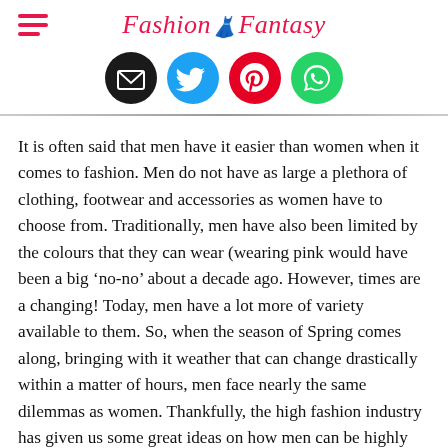Fashion Fantasy
[Figure (infographic): Social sharing icons: email (black circle), Twitter (blue circle), Pinterest (red circle), WhatsApp (green circle)]
It is often said that men have it easier than women when it comes to fashion. Men do not have as large a plethora of clothing, footwear and accessories as women have to choose from. Traditionally, men have also been limited by the colours that they can wear (wearing pink would have been a big ‘no-no’ about a decade ago. However, times are a changing! Today, men have a lot more of variety available to them. So, when the season of Spring comes along, bringing with it weather that can change drastically within a matter of hours, men face nearly the same dilemmas as women. Thankfully, the high fashion industry has given us some great ideas on how men can be highly fashionable which making sure they do not end up ill